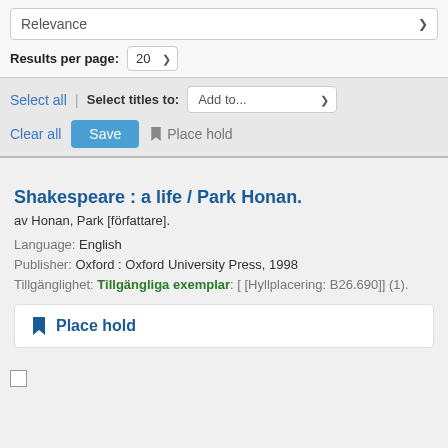Relevance
Results per page: 20
Select all  |  Select titles to:  Add to...
Clear all   Save   Place hold
Shakespeare : a life / Park Honan.
av Honan, Park [författare].
Language: English
Publisher: Oxford : Oxford University Press, 1998
Tillgänglighet: Tillgängliga exemplar: [ [Hyllplacering: B26.690]] (1).
Place hold